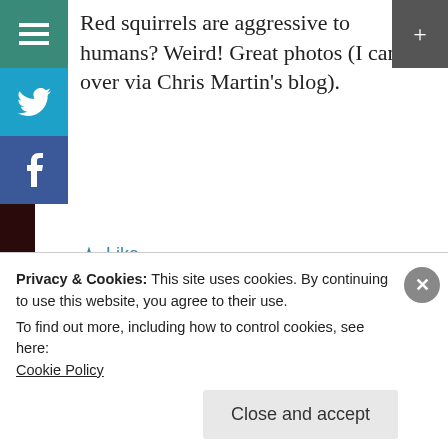Red squirrels are aggressive to humans? Weird! Great photos (I came over via Chris Martin's blog).
★ Like
November 11, 2012 at 2:39 pm
lylokrahn
Privacy & Cookies: This site uses cookies. By continuing to use this website, you agree to their use.
To find out more, including how to control cookies, see here:
Cookie Policy
Close and accept